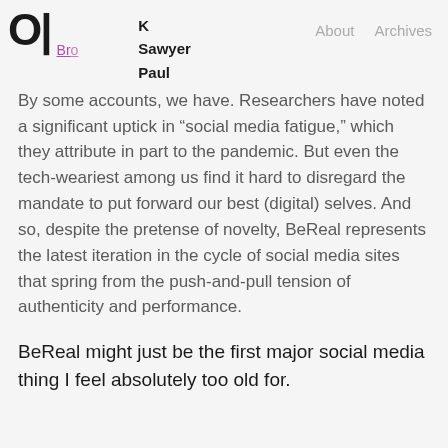O | K Sawyer Paul   About   Archives   Bro
By some accounts, we have. Researchers have noted a significant uptick in “social media fatigue,” which they attribute in part to the pandemic. But even the tech-weariest among us find it hard to disregard the mandate to put forward our best (digital) selves. And so, despite the pretense of novelty, BeReal represents the latest iteration in the cycle of social media sites that spring from the push-and-pull tension of authenticity and performance.
BeReal might just be the first major social media thing I feel absolutely too old for.